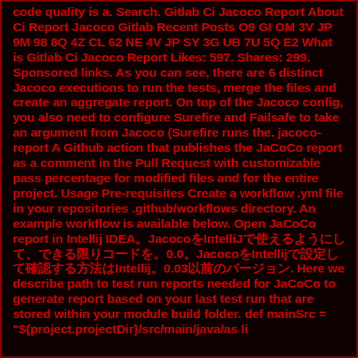code quality is a. Search. Gitlab Ci Jacoco Report About Ci Report Jacoco Gitlab Recent Posts O9 GI OM 3V JP 9M 98 8Q 4Z CL 62 NE 4V JP SY 3G UB 7U 5Q E2 What is Gitlab Ci Jacoco Report Likes: 597. Shares: 299. Sponsored links. As you can see, there are 6 distinct Jacoco executions to run the tests, merge the files and create an aggregate report. On top of the Jacoco config, you also need to configure Surefire and Failsafe to take an argument from Jacoco (Surefire runs the. jacoco-report A Github action that publishes the JaCoCo report as a comment in the Pull Request with customizable pass percentage for modified files and for the entire project. Usage Pre-requisites Create a workflow .yml file in your repositories .github/workflows directory. An example workflow is available below. Open JaCoCo report in Intellij IDEA。JacocoをIntelliJで使えるようにして、できる限りコードを。0.0。JacocoをIntellijで設定して確認する方法はIntelij。0.03以前のバージョン. Here we describe path to test run reports needed for JaCoCo to generate report based on your last test run that are stored within your module build folder. def mainSrc = "${project.projectDir}/src/main/java/as li